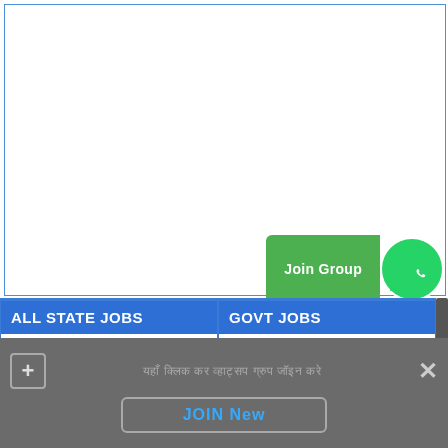[Figure (other): White advertisement/banner area with blue border]
[Figure (other): WhatsApp Join Group button with green background and WhatsApp logo icon]
ALL STATE JOBS
● SSC Stenographer Recruitment 2022 यहाँ से अभी अभी जांचे NEW
GOVT JOBS
● SSC Stenographer Recruitment 2022 यहाँ से अभी अभी जांचे NEW
यहाँ क्लिक कर व्हाट्सप ग्रुप जॉइन करे
JOIN New